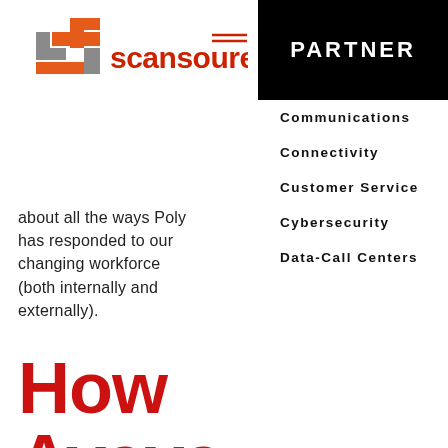[Figure (logo): ScanSource logo with orange and grey 'S' icon and red 'scansource' wordmark with double-bar accent on the 'e']
about all the ways Poly has responded to our changing workforce (both internally and externally).
PARTNER
Communications
Connectivity
Customer Service
Cybersecurity
Data-Call Centers
How Avaya is Inspirin